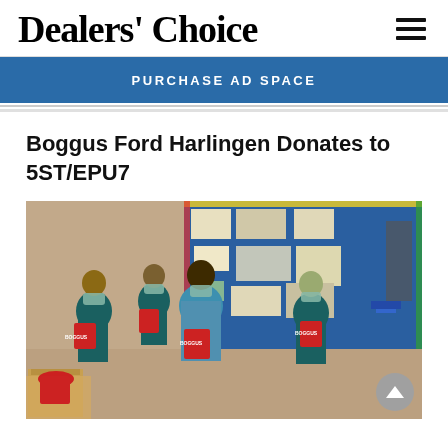Dealers' Choice
PURCHASE AD SPACE
Boggus Ford Harlingen Donates to 5ST/EPU7
[Figure (photo): Group of healthcare workers in scrubs and masks holding red tote bags, standing in front of a bulletin board. Cardboard boxes visible in front.]